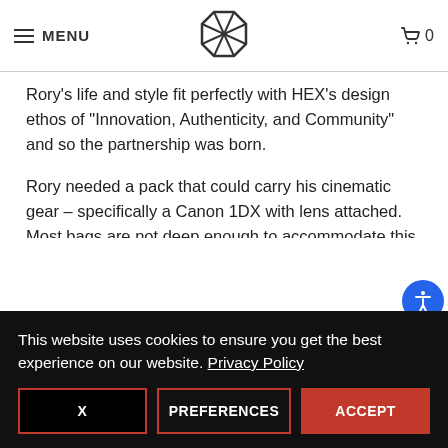MENU | HEX Brand logo | Cart 0
Rory's life and style fit perfectly with HEX's design ethos of “Innovation, Authenticity, and Community” and so the partnership was born.
Rory needed a pack that could carry his cinematic gear – specifically a Canon 1DX with lens attached.  Most bags are not deep enough to accommodate this even though it is a standard go-to camera for the filming community.  He also needed a bag that would travel well on his long days of terrain trekking
This website uses cookies to ensure you get the best experience on our website. Privacy Policy
X  PREFERENCES  ACCEPT